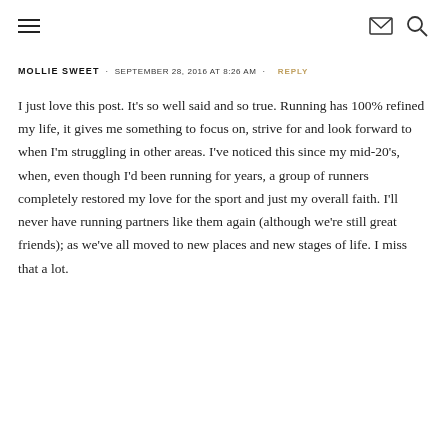≡  ✉ 🔍
MOLLIE SWEET · SEPTEMBER 28, 2016 AT 8:26 AM · REPLY
I just love this post. It's so well said and so true. Running has 100% refined my life, it gives me something to focus on, strive for and look forward to when I'm struggling in other areas. I've noticed this since my mid-20's, when, even though I'd been running for years, a group of runners completely restored my love for the sport and just my overall faith. I'll never have running partners like them again (although we're still great friends); as we've all moved to new places and new stages of life. I miss that a lot.